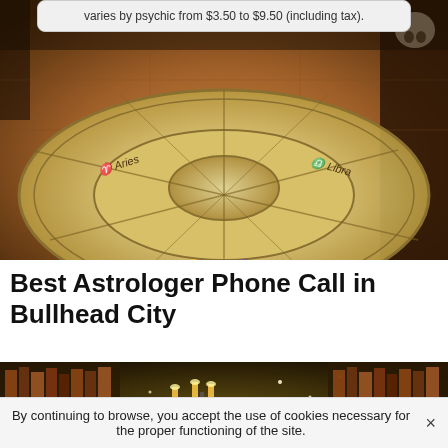varies by psychic from $3.50 to $9.50 (including tax).
[Figure (photo): Astrology wheel / zodiac circle painted on a stone floor with ornate symbols, viewed from above in a dark mystical room with skulls and books]
Best Astrologer Phone Call in Bullhead City
[Figure (photo): Dark mystical library with candles on a candelabra, bookshelves filled with old books, and magical sparkles/glitter in the air]
By continuing to browse, you accept the use of cookies necessary for the proper functioning of the site.